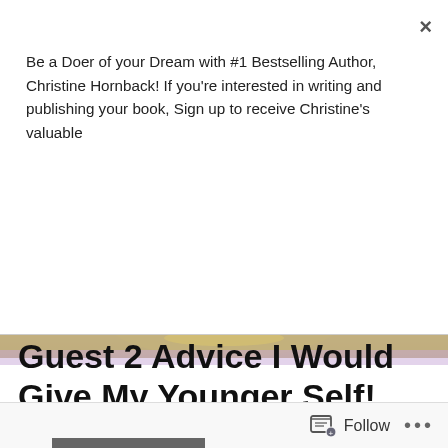Be a Doer of your Dream with #1 Bestselling Author, Christine Hornback! If you're interested in writing and publishing your book, Sign up to receive Christine's valuable
Subscribe
[Figure (photo): Panoramic sunset photo with pink and purple clouds and golden sun low on the horizon over a flat landscape]
TAGGED WITH YESTERDAY TODAY
Guest 2 Advice I Would Give My Younger Self!
Follow • • •